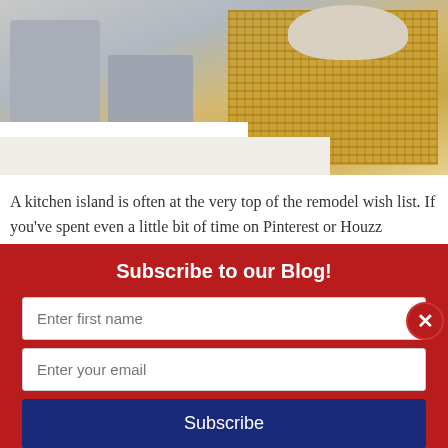[Figure (photo): Kitchen scene with gray bar stools, a white counter, woven mat/runner, and a bowl on the counter top]
A kitchen island is often at the very top of the remodel wish list. If you've spent even a little bit of time on Pinterest or Houzz browsing photos of kitchens for inspiration, you've no doubt heard the siren song of an open concept kitchen complete with a central island that has plenty of space for food prep, serving drinks, doing homework and more.
Subscribe to our Blog!
Enter first name
Enter your email
Subscribe